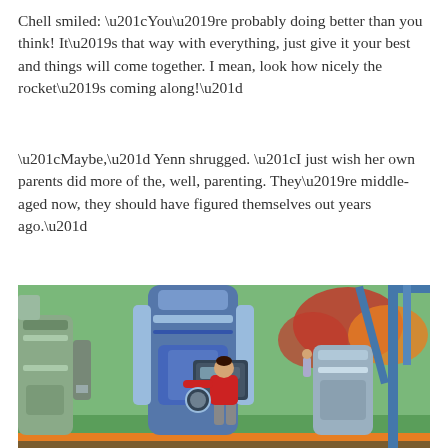Chell smiled: “You’re probably doing better than you think! It’s that way with everything, just give it your best and things will come together. I mean, look how nicely the rocket’s coming along!”
“Maybe,” Yenn shrugged. “I just wish her own parents did more of the, well, parenting. They’re middle-aged now, they should have figured themselves out years ago.”
[Figure (screenshot): Screenshot from The Sims game showing a character in a red top working at a futuristic rocket or science station outdoors, with blue and grey sci-fi equipment and autumn trees in the background.]